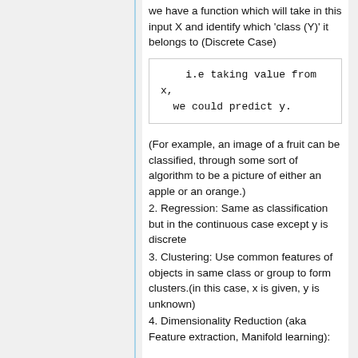we have a function which will take in this input X and identify which 'class (Y)' it belongs to (Discrete Case)
(For example, an image of a fruit can be classified, through some sort of algorithm to be a picture of either an apple or an orange.)
2. Regression: Same as classification but in the continuous case except y is discrete
3. Clustering: Use common features of objects in same class or group to form clusters.(in this case, x is given, y is unknown)
4. Dimensionality Reduction (aka Feature extraction, Manifold learning):